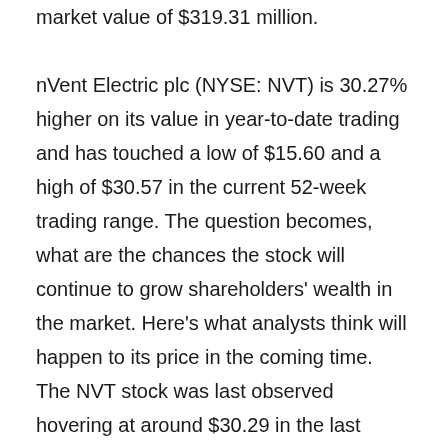market value of $319.31 million.
nVent Electric plc (NYSE: NVT) is 30.27% higher on its value in year-to-date trading and has touched a low of $15.60 and a high of $30.57 in the current 52-week trading range. The question becomes, what are the chances the stock will continue to grow shareholders' wealth in the market. Here's what analysts think will happen to its price in the coming time. The NVT stock was last observed hovering at around $30.29 in the last trading session, with the day's gains setting it 0.05% off its average median price target of $34.00 for the next 12 months. It is also 22.21%